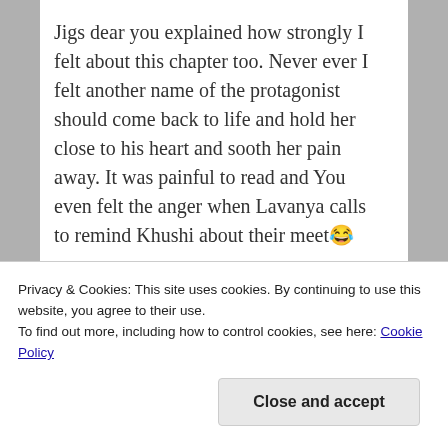Jigs dear you explained how strongly I felt about this chapter too. Never ever I felt another name of the protagonist should come back to life and hold her close to his heart and sooth her pain away. It was painful to read and You even felt the anger when Lavanya calls to remind Khushi about their meet😂
A lovely chapter Mira! I know this will open the the past of Khushi and Arnav and it will
Privacy & Cookies: This site uses cookies. By continuing to use this website, you agree to their use.
To find out more, including how to control cookies, see here: Cookie Policy
Close and accept